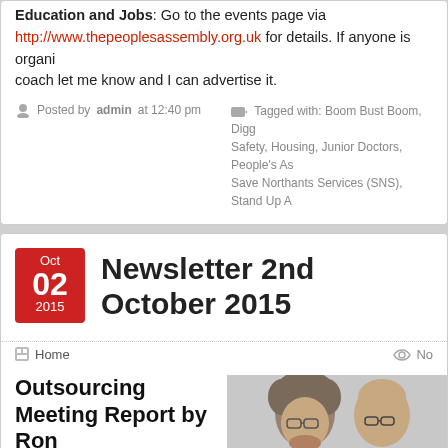Education and Jobs: Go to the events page via http://www.thepeoplesassembly.org.uk for details. If anyone is organising a coach let me know and I can advertise it.
Posted by admin at 12:40 pm
Tagged with: Boom Bust Boom, Digg... Safety, Housing, Junior Doctors, People's As... Save Northants Services (SNS), Stand Up A...
Newsletter 2nd October 2015
Home   No...
Outsourcing Meeting Report by Ron
John Burgess, Barnet UNISON Branch Secretary, led a discussion of how trade
[Figure (photo): Two men photographed together, one with curly grey hair and glasses, the other bald with glasses wearing a teal shirt.]